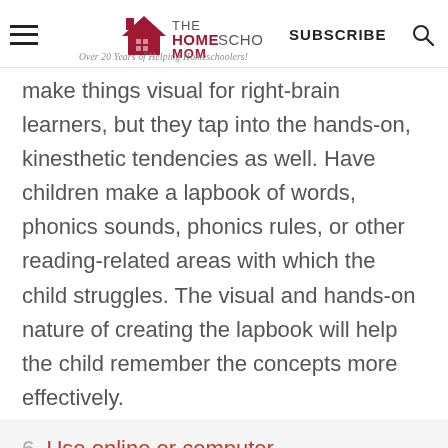THE HOMESCHOOL MOM — Over 20 Years of Helping Homeschoolers! | SUBSCRIBE
make things visual for right-brain learners, but they tap into the hands-on, kinesthetic tendencies as well. Have children make a lapbook of words, phonics sounds, phonics rules, or other reading-related areas with which the child struggles. The visual and hands-on nature of creating the lapbook will help the child remember the concepts more effectively.
6. Use online or computer programs to practice